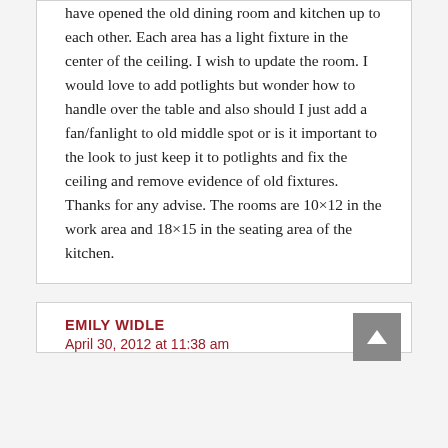have opened the old dining room and kitchen up to each other. Each area has a light fixture in the center of the ceiling. I wish to update the room. I would love to add potlights but wonder how to handle over the table and also should I just add a fan/fanlight to old middle spot or is it important to the look to just keep it to potlights and fix the ceiling and remove evidence of old fixtures. Thanks for any advise. The rooms are 10×12 in the work area and 18×15 in the seating area of the kitchen.
EMILY WIDLE
April 30, 2012 at 11:38 am